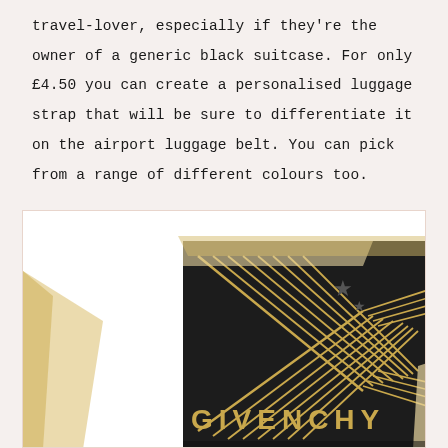travel-lover, especially if they're the owner of a generic black suitcase. For only £4.50 you can create a personalised luggage strap that will be sure to differentiate it on the airport luggage belt. You can pick from a range of different colours too.
[Figure (photo): A Givenchy luxury gift box in black with gold geometric X pattern design and star embellishments, partially unwrapped with cream/gold ribbon, photographed at an angle against a white background.]